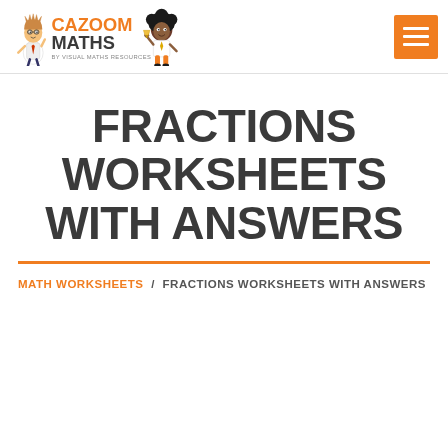Cazoom Maths — By Visual Maths Resources
FRACTIONS WORKSHEETS WITH ANSWERS
MATH WORKSHEETS / FRACTIONS WORKSHEETS WITH ANSWERS